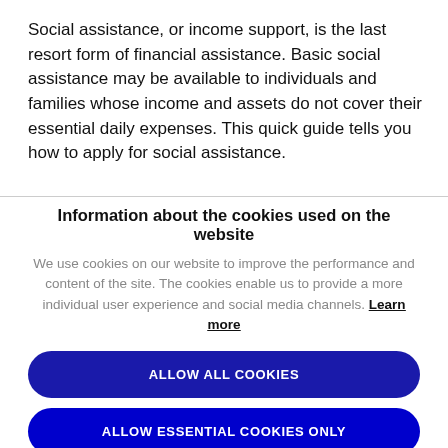Social assistance, or income support, is the last resort form of financial assistance. Basic social assistance may be available to individuals and families whose income and assets do not cover their essential daily expenses. This quick guide tells you how to apply for social assistance.
Information about the cookies used on the website
We use cookies on our website to improve the performance and content of the site. The cookies enable us to provide a more individual user experience and social media channels. Learn more
ALLOW ALL COOKIES
ALLOW ESSENTIAL COOKIES ONLY
COOKIE SETTINGS